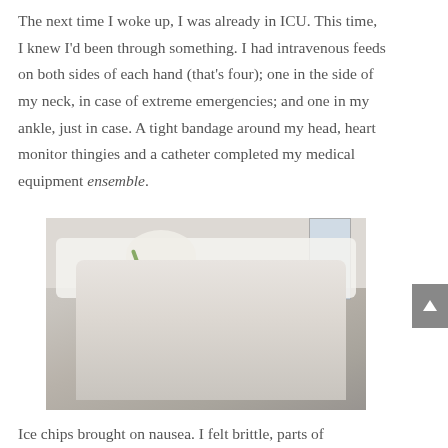The next time I woke up, I was already in ICU. This time, I knew I'd been through something. I had intravenous feeds on both sides of each hand (that's four); one in the side of my neck, in case of extreme emergencies; and one in my ankle, just in case. A tight bandage around my head, heart monitor thingies and a catheter completed my medical equipment ensemble.
[Figure (photo): A patient lying in an ICU hospital bed with a white bandage wrapped around their head, holding a medical tube or device. The patient is wearing a hospital gown and has various medical equipment attached.]
Ice chips brought on nausea. I felt brittle, parts of